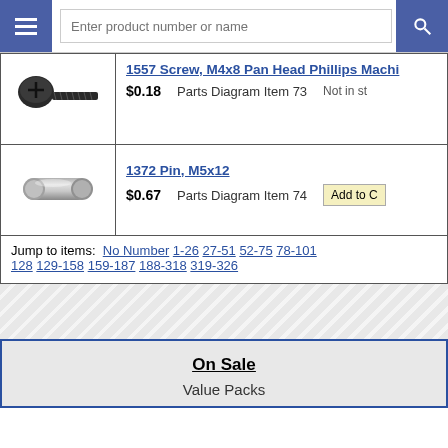Enter product number or name
| Image | Product | Price | Diagram | Status/Action |
| --- | --- | --- | --- | --- |
| [screw image] | 1557 Screw, M4x8 Pan Head Phillips Machi | $0.18 | Parts Diagram Item 73 | Not in st |
| [pin image] | 1372 Pin, M5x12 | $0.67 | Parts Diagram Item 74 | Add to C |
Jump to items: No Number 1-26 27-51 52-75 78-101 128 129-158 159-187 188-318 319-326
On Sale
Value Packs